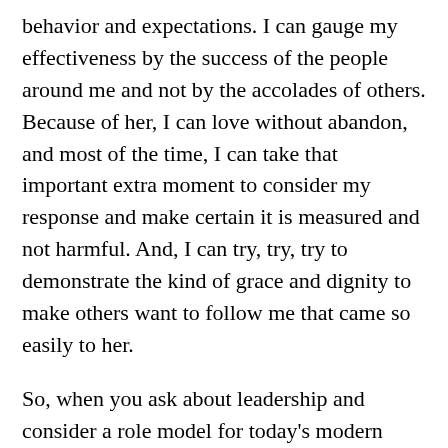behavior and expectations.  I can gauge my effectiveness by the success of the people around me and not by the accolades of others.  Because of her, I can love without abandon, and most of the time, I can take that important extra moment to consider my response and make certain it is measured and not harmful.  And, I can try, try, try to demonstrate the kind of grace and dignity to make others want to follow me that came so easily to her.
So, when you ask about leadership and consider a role model for today's modern woman, think of my friend.  She was a leader to so many people.  She demonstrated the kind of behaviors and character traits to inspire us all.  She is gone, but not forgotten.  She has touched so many, and she lives on